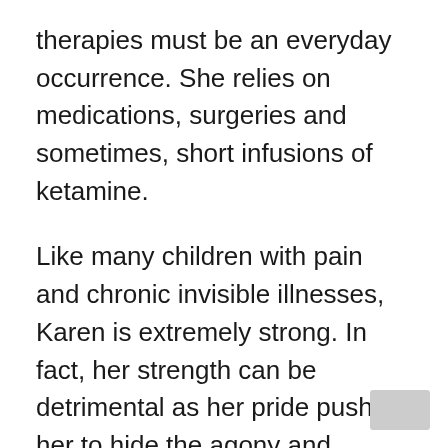therapies must be an everyday occurrence. She relies on medications, surgeries and sometimes, short infusions of ketamine.
Like many children with pain and chronic invisible illnesses, Karen is extremely strong. In fact, her strength can be detrimental as her pride pushes her to hide the agony and struggle from almost everyone.
“I always know when she is in pain because she becomes irritable,” says Aurora. “Instead of crying, Karen tends to fight it. She can become short-tempered, but I understand. She is—and